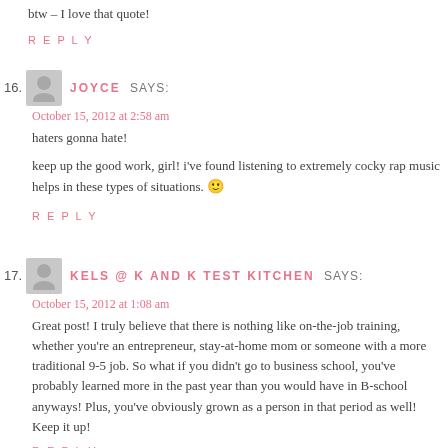btw – I love that quote!
REPLY
16. JOYCE SAYS:
October 15, 2012 at 2:58 am
haters gonna hate!
keep up the good work, girl! i've found listening to extremely cocky rap music helps in these types of situations. 🙂
REPLY
17. KELS @ K AND K TEST KITCHEN SAYS:
October 15, 2012 at 1:08 am
Great post! I truly believe that there is nothing like on-the-job training, whether you're an entrepreneur, stay-at-home mom or someone with a more traditional 9-5 job. So what if you didn't go to business school, you've probably learned more in the past year than you would have in B-school anyways! Plus, you've obviously grown as a person in that period as well! Keep it up!
REPLY